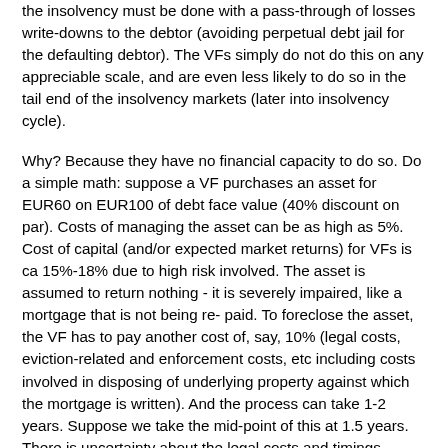the insolvency must be done with a pass-through of losses write-downs to the debtor (avoiding perpetual debt jail for the defaulting debtor). The VFs simply do not do this on any appreciable scale, and are even less likely to do so in the tail end of the insolvency markets (later into insolvency cycle).
Why? Because they have no financial capacity to do so. Do a simple math: suppose a VF purchases an asset for EUR60 on EUR100 of debt face value (40% discount on par). Costs of managing the asset can be as high as 5%. Cost of capital (and/or expected market returns) for VFs is ca 15%-18% due to high risk involved. The asset is assumed to return nothing - it is severely impaired, like a mortgage that is not being re-paid. To foreclose the asset, the VF has to pay another cost of, say, 10% (legal costs, eviction-related and enforcement costs, etc including costs involved in disposing of underlying property against which the mortgage is written). And the process can take 1-2 years. Suppose we take the mid-point of this at 1.5 years. There is uncertainty about the legal costs and timings involved. Suppose it involves 10% of the total mortgages pool purchased by the fund. The cost or recovering funds for the VF, accounting for compounded interest/There are indications that EUR30-36-37-41 Total...